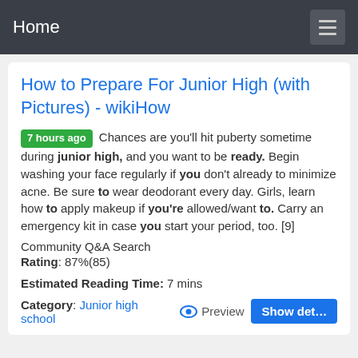Home
How to Prepare For Junior High (with Pictures) - wikiHow
7 hours ago Chances are you'll hit puberty sometime during junior high, and you want to be ready. Begin washing your face regularly if you don't already to minimize acne. Be sure to wear deodorant every day. Girls, learn how to apply makeup if you're allowed/want to. Carry an emergency kit in case you start your period, too. [9] Community Q&A Search
Rating: 87%(85)
Estimated Reading Time: 7 mins
Category: Junior high school  Preview  Show details